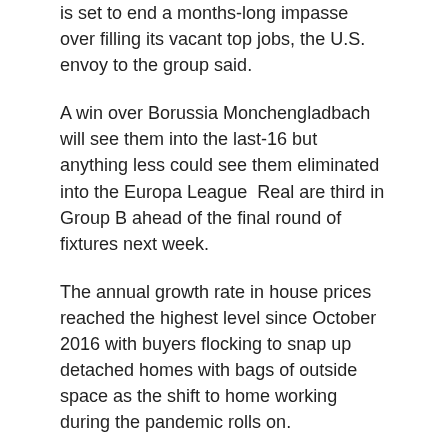is set to end a months-long impasse over filling its vacant top jobs, the U.S. envoy to the group said.
A win over Borussia Monchengladbach will see them into the last-16 but anything less could see them eliminated into the Europa League  Real are third in Group B ahead of the final round of fixtures next week.
The annual growth rate in house prices reached the highest level since October 2016 with buyers flocking to snap up detached homes with bags of outside space as the shift to home working during the pandemic rolls on.
VIENNA, Dec 1 (Reuters) – The Organization for Security and Cooperation in Europe, a body that includes Russia and the United States and modni trendovi other former Cold